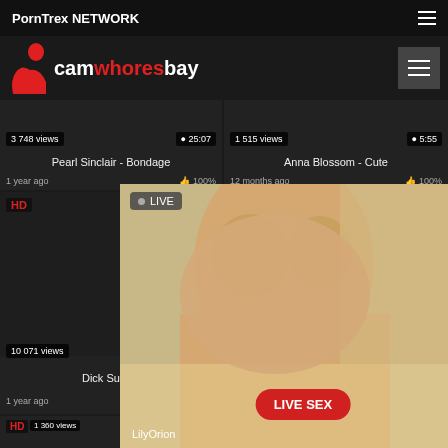PornTrex NETWORK
[Figure (logo): camwhoresbay logo with red silhouette of a woman]
Pearl Sinclair - Bondage | 1 year ago | 100% | 3 748 views | 25:07
Anna Blossom - Cute | 12 months ago | 100% | 1 515 views | 5:55
HD | 10 071 views | Dick Suck... | 1 year ago
HD | (second mid card)
[Figure (photo): Live popup overlay showing a blonde woman, with LIVE tag, LilyOrion username, and LIVE SEX button]
HD | 1 360 views | 56:59
1 066 views | 7:27